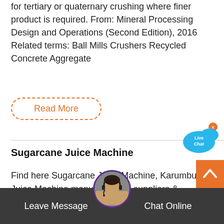for tertiary or quaternary crushing where finer product is required. From: Mineral Processing Design and Operations (Second Edition), 2016 Related terms: Ball Mills Crushers Recycled Concrete Aggregate
Read More
Sugarcane Juice Machine
Find here Sugarcane Juice Machine, Karumbu Juice Machine manufacturers, suppliers & exporters in India. Get contact details & address of companies manufacturing and supplying Sugarcane Juice Machine, Karumbu Juice Machine, Ganna Juice Machine across
[Figure (illustration): Live Chat speech bubble icon in blue]
[Figure (illustration): Orange scroll-to-top arrow button]
[Figure (photo): Customer service representative avatar with headset]
Leave Message   Chat Online